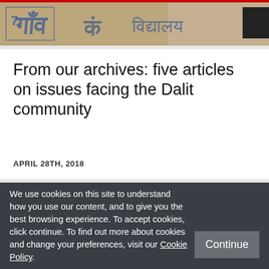[Figure (photo): Graffiti/street art on a wall with blue text, with a black square overlay in the top right corner]
From our archives: five articles on issues facing the Dalit community
APRIL 28TH, 2018
[Figure (photo): Angled upward view of brick building with LSE signage in red, tagged with Development label]
We use cookies on this site to understand how you use our content, and to give you the best browsing experience. To accept cookies, click continue. To find out more about cookies and change your preferences, visit our Cookie Policy.